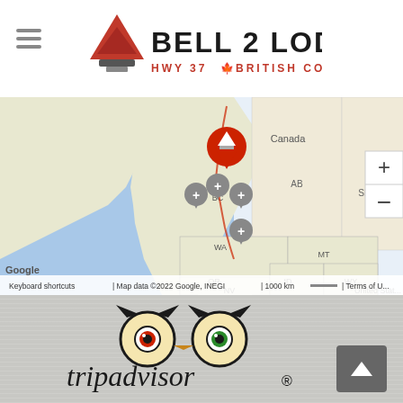[Figure (logo): Bell 2 Lodge logo with red triangle/tree icon and text 'BELL 2 LODGE HWY 37 BRITISH COLUMBIA']
[Figure (map): Google Maps screenshot showing British Columbia, Canada and northwestern US states (WA, OR, NV, ID, MT, WY) with map pins including a large red Bell 2 Lodge branded pin near BC and several gray location pins. Zoom controls on right. Map data ©2022 Google, INEGI, scale 1000 km.]
[Figure (logo): TripAdvisor logo with owl icon and 'tripadvisor®' wordmark on wood-texture background]